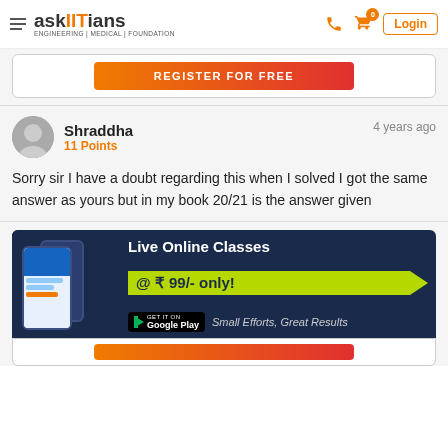askIITians ENGINEERING | MEDICAL | FOUNDATION
[Figure (screenshot): Register for free button banner (cropped, partially visible)]
Shraddha
11 Points
4 years ago
Sorry sir I have a doubt regarding this when I solved I got the same answer as yours but in my book 20/21 is the answer given
[Figure (infographic): Live Online Classes @ ₹ 99/- only! Small Efforts, Great Results. Google Play store badge. App shown on phones.]
[Figure (screenshot): Register for free button (bottom, partially visible)]